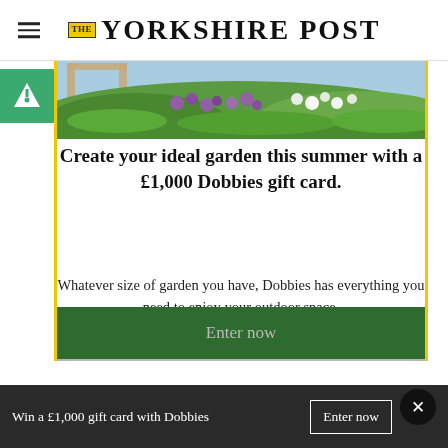THE YORKSHIRE POST
[Figure (photo): Garden flower bed with purple and white flowers, wooden trellis arch in background, lush greenery]
Create your ideal garden this summer with a £1,000 Dobbies gift card.
Whatever size of garden you have, Dobbies has everything you need to enjoy your outdoor space.
Enter now
Win a £1,000 gift card with Dobbies   Enter now